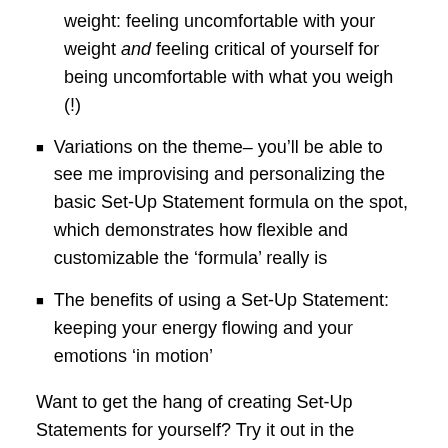weight: feeling uncomfortable with your weight and feeling critical of yourself for being uncomfortable with what you weigh (!)
Variations on the theme– you’ll be able to see me improvising and personalizing the basic Set-Up Statement formula on the spot, which demonstrates how flexible and customizable the ‘formula’ really is
The benefits of using a Set-Up Statement: keeping your energy flowing and your emotions ‘in motion’
Want to get the hang of creating Set-Up Statements for yourself? Try it out in the comments below! Use the formula: “Even though _______________, I love and accept myself”, and fill in the blanks with your chosen topic and how you feel about that topic. I’m happy to guide and steer you if you’re feeling stumped or if you’re not sure if you’re on the right track. And until next week, yo!